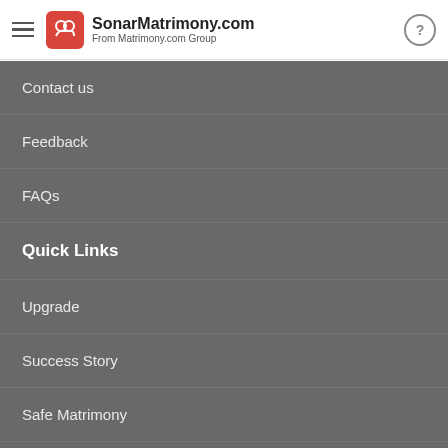SonarMatrimony.com From Matrimony.com Group
Contact us
Feedback
FAQs
Quick Links
Upgrade
Success Story
Safe Matrimony
Popular Matrimony Searches
Terms and Conditions